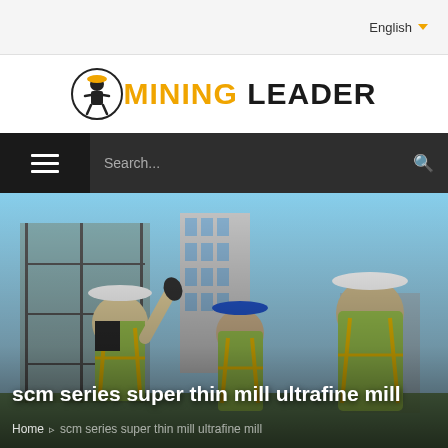English
[Figure (logo): Mining Leader logo with miner icon in circle and text MINING LEADER]
[Figure (screenshot): Navigation bar with hamburger menu on dark background and Search... input]
[Figure (photo): Construction workers wearing hard hats and high-visibility vests at a building site]
scm series super thin mill ultrafine mill
Home > scm series super thin mill ultrafine mill